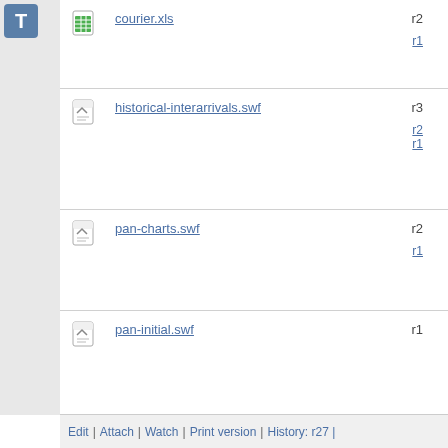courier.xls r2 r1
historical-interarrivals.swf r3 r2 r1
pan-charts.swf r2 r1
pan-initial.swf r1
pan-run.swf r1
Edit | Attach | Watch | Print version | History: r27 |